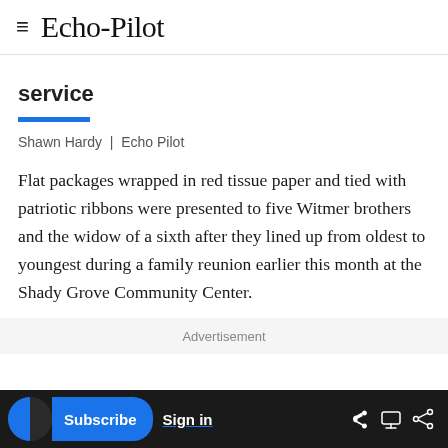Echo-Pilot
service
Shawn Hardy | Echo Pilot
Flat packages wrapped in red tissue paper and tied with patriotic ribbons were presented to five Witmer brothers and the widow of a sixth after they lined up from oldest to youngest during a family reunion earlier this month at the Shady Grove Community Center.
Advertisement